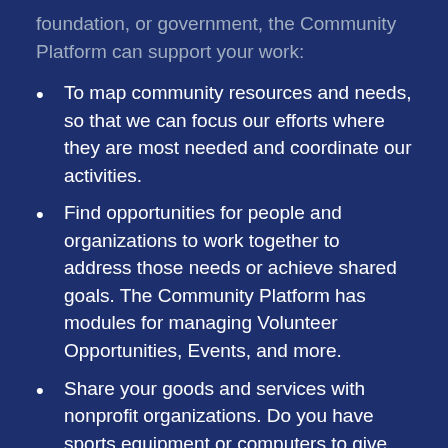foundation, or government, the Community Platform can support your work:
To map community resources and needs, so that we can focus our efforts where they are most needed and coordinate our activities.
Find opportunities for people and organizations to work together to address those needs or achieve shared goals. The Community Platform has modules for managing Volunteer Opportunities, Events, and more.
Share your goods and services with nonprofit organizations. Do you have sports equipment or computers to give away? Does your nonprofit have extra space that it could share with another organization? Does your nonprofit have a need that you want others to know about? Post it on the Platform.